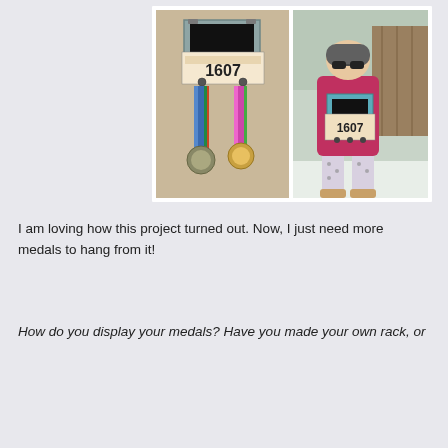[Figure (photo): Two side-by-side photos: left shows a medal display rack mounted on a wall with race bib number 1607 clipped to it and two medals hanging from hooks; right shows a woman in a pink jacket, grey beanie, sunglasses, and patterned leggings standing in snow holding the same teal/blue race medal and bib display rack (number 1607).]
I am loving how this project turned out. Now, I just need more medals to hang from it!
How do you display your medals? Have you made your own rack, or